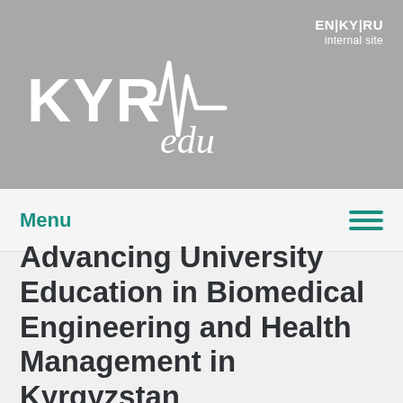[Figure (logo): KYRMedu logo - white ECG/heartbeat line graphic with KYR and edu text in white on gray background]
EN | KY | RU
internal site
Menu
Advancing University Education in Biomedical Engineering and Health Management in Kyrgyzstan